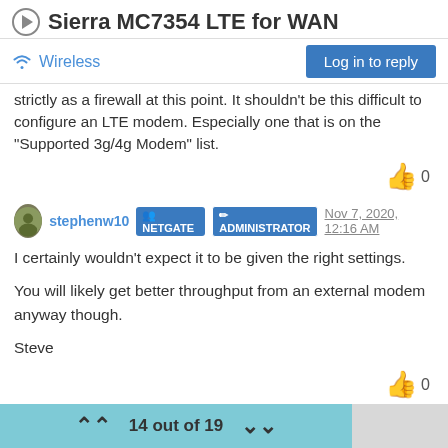Sierra MC7354 LTE for WAN
Wireless
strictly as a firewall at this point. It shouldn't be this difficult to configure an LTE modem. Especially one that is on the "Supported 3g/4g Modem" list.
👍 0
stephenw10 • NETGATE 🔲 ADMINISTRATOR Nov 7, 2020, 12:16 AM
I certainly wouldn't expect it to be given the right settings.

You will likely get better throughput from an external modem anyway though.

Steve
👍 0
14 out of 19